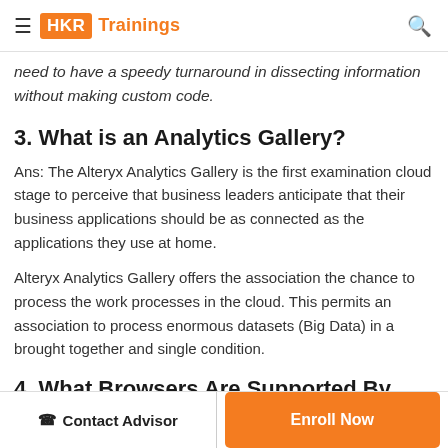HKR Trainings
need to have a speedy turnaround in dissecting information without making custom code.
3. What is an Analytics Gallery?
Ans: The Alteryx Analytics Gallery is the first examination cloud stage to perceive that business leaders anticipate that their business applications should be as connected as the applications they use at home.
Alteryx Analytics Gallery offers the association the chance to process the work processes in the cloud. This permits an association to process enormous datasets (Big Data) in a brought together and single condition.
4. What Browsers Are Supported By The Analytics Gallery?
Contact Advisor | Enroll Now